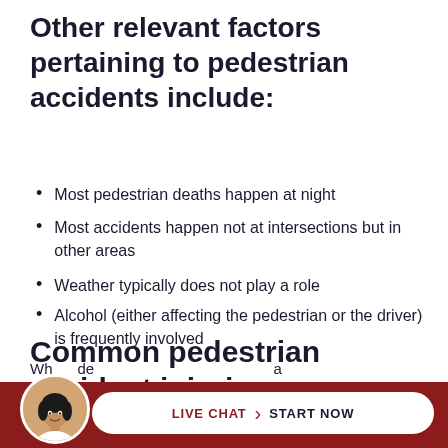Other relevant factors pertaining to pedestrian accidents include:
Most pedestrian deaths happen at night
Most accidents happen not at intersections but in other areas
Weather typically does not play a role
Alcohol (either affecting the pedestrian or the driver) is frequently involved
Common pedestrian accident injuries
Wh...de...a
[Figure (photo): Live chat widget with avatar photo of a woman and a button reading LIVE CHAT > START NOW on a dark red background bar]